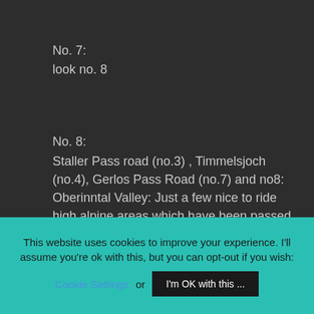No. 7:
look no. 8
No. 8:
Staller Pass road (no.3) , Timmelsjoch (no.4), Gerlos Pass Road (no.7) and no8: Oberinntal Valley: Just a few nice to ride high alpine areas which have been passed along this ride.
The total distance of this long weekend ride was
This website uses cookies to improve your experience. I'll assume you're ok with this, but you can opt-out if you wish:
Cookie Settings or I'm OK with this ...